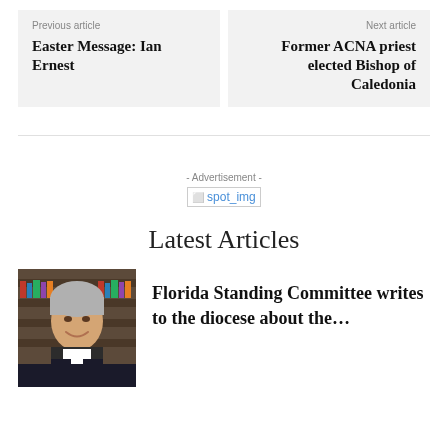Previous article
Easter Message: Ian Ernest
Next article
Former ACNA priest elected Bishop of Caledonia
- Advertisement -
spot_img
Latest Articles
[Figure (photo): Portrait photo of a man with grey hair in clerical collar, smiling, in front of bookshelves]
Florida Standing Committee writes to the diocese about the...